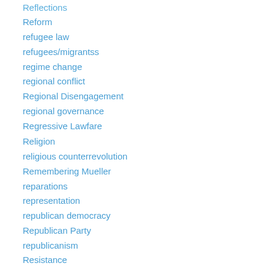Reflections
Reform
refugee law
refugees/migrantss
regime change
regional conflict
Regional Disengagement
regional governance
Regressive Lawfare
Religion
religious counterrevolution
Remembering Mueller
reparations
representation
republican democracy
Republican Party
republicanism
Resistance
Responsibility to Protect (R2P)
Restorative Diplomacy